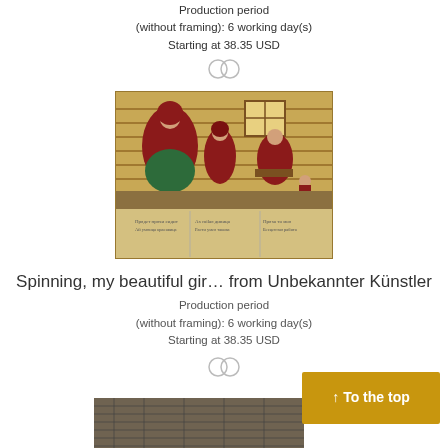Production period (without framing): 6 working day(s)
Starting at 38.35 USD
[Figure (illustration): Divider icon - two overlapping circles]
[Figure (illustration): Antique Russian lubok print showing figures in traditional dress inside a wooden house, with Cyrillic text below the illustration]
Spinning, my beautiful gir… from Unbekannter Künstler
Production period (without framing): 6 working day(s)
Starting at 38.35 USD
[Figure (illustration): Divider icon - two overlapping circles]
[Figure (illustration): Partial view of another antique print at the bottom of the page]
↑ To the top